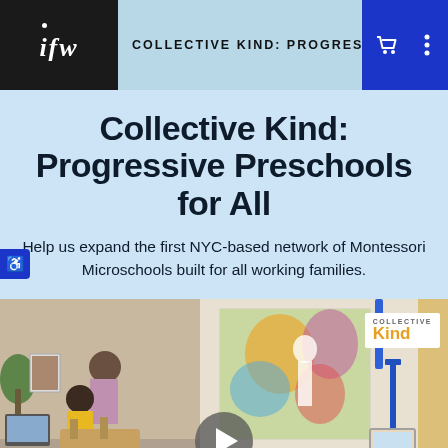IFW — COLLECTIVE KIND: PROGRESSIVE
Collective Kind: Progressive Preschools for All
Help us expand the first NYC-based network of Montessori Microschools built for all working families.
[Figure (photo): Children playing and learning in a Montessori classroom setting, with a colorful artwork painting on the wall and a Collective Kind logo visible on the right side. A video play button overlay is visible.]